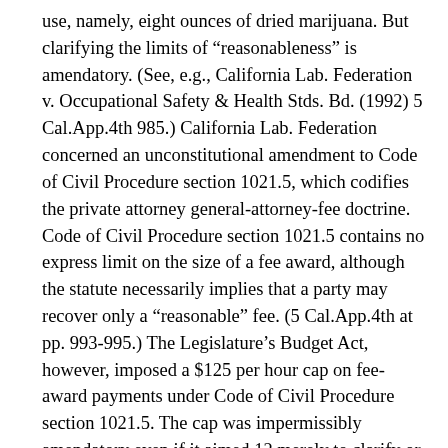use, namely, eight ounces of dried marijuana. But clarifying the limits of “reasonableness” is amendatory. (See, e.g., California Lab. Federation v. Occupational Safety & Health Stds. Bd. (1992) 5 Cal.App.4th 985.) California Lab. Federation concerned an unconstitutional amendment to Code of Civil Procedure section 1021.5, which codifies the private attorney general-attorney-fee doctrine. Code of Civil Procedure section 1021.5 contains no express limit on the size of a fee award, although the statute necessarily implies that a party may recover only a “reasonable” fee. (5 Cal.App.4th at pp. 993-995.) The Legislature’s Budget Act, however, imposed a $125 per hour cap on fee-award payments under Code of Civil Procedure section 1021.5. The cap was impermissibly amendatory even if it aimed 12 merely to clarify or to correct uncertainties in existing law. (5 Cal.App.4th at p. 995.)10 By imposing substantive conditions where there were none, the challenged provision was amendatory. (Ibid.) The Legislature’s